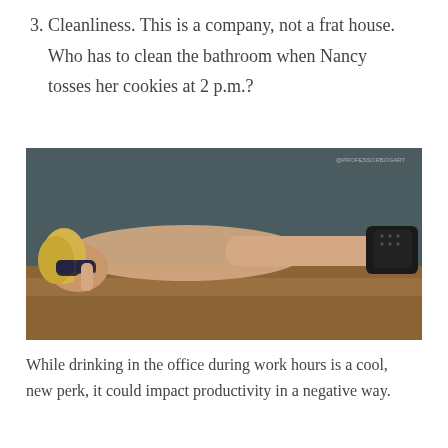3. Cleanliness. This is a company, not a frat house. Who has to clean the bathroom when Nancy tosses her cookies at 2 p.m.?
[Figure (photo): Photo of a blonde woman lying on a wooden table or floor wearing dark sunglasses and black studded boots, leaning her head on her hand, with a dark background behind her.]
While drinking in the office during work hours is a cool, new perk, it could impact productivity in a negative way.